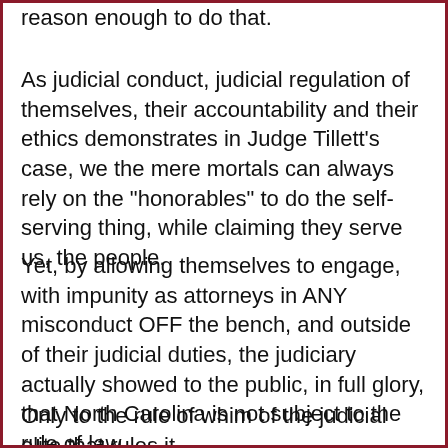reason enough to do that.
As judicial conduct, judicial regulation of themselves, their accountability and their ethics demonstrates in Judge Tillett's case, we the mere mortals can always rely on the "honorables" to do the self-serving thing, while claiming they serve us, the people.
Yet, by allowing themselves to engage, with impunity as attorneys in ANY misconduct OFF the bench, and outside of their judicial duties, the judiciary actually showed to the public, in full glory, that North Carolina is not subject to the rule of law.
Only to the rule of whim of the judicial elite that rules it.